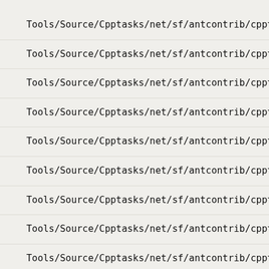Tools/Source/Cpptasks/net/sf/antcontrib/cpptasks/compiler/Co
Tools/Source/Cpptasks/net/sf/antcontrib/cpptasks/compiler/Co
Tools/Source/Cpptasks/net/sf/antcontrib/cpptasks/compiler/Co
Tools/Source/Cpptasks/net/sf/antcontrib/cpptasks/compiler/Co
Tools/Source/Cpptasks/net/sf/antcontrib/cpptasks/compiler/Co
Tools/Source/Cpptasks/net/sf/antcontrib/cpptasks/compiler/Co
Tools/Source/Cpptasks/net/sf/antcontrib/cpptasks/compiler/Co
Tools/Source/Cpptasks/net/sf/antcontrib/cpptasks/compiler/Li
Tools/Source/Cpptasks/net/sf/antcontrib/cpptasks/compiler/Li